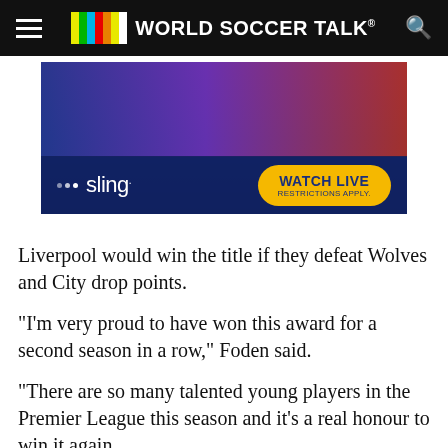WORLD SOCCER TALK
[Figure (infographic): Sling TV advertisement banner showing soccer players with 'WATCH LIVE' button and 'RESTRICTIONS APPLY.' text]
Liverpool would win the title if they defeat Wolves and City drop points.
“I’m very proud to have won this award for a second season in a row,” Foden said.
“There are so many talented young players in the Premier League this season and it’s a real honour to win it again.
have been really happy with my performances s season and it has been great to contribute to